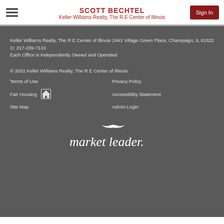SCOTT BECHTEL
Keller Williams Realty, The R E Center of Illinois
Keller Williams Realty, The R E Center of Illinois 2441 Village Green Place, Champaign, IL 61822 O: 217-239-7110
Each Office is Independently Owned and Operated
© 2022 Keller Williams Realty, The R E Center of Illinois
Terms of Use
Privacy Policy
Fair Housing
Accessibility Statement
Site Map
Admin Login
[Figure (logo): market leader. logo in white italic text with a stylized bird above]